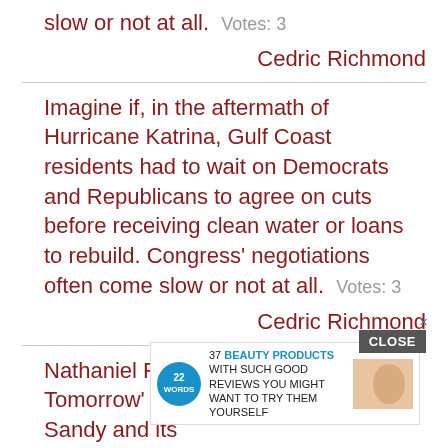slow or not at all.  Votes: 3
Cedric Richmond
Imagine if, in the aftermath of Hurricane Katrina, Gulf Coast residents had to wait on Democrats and Republicans to agree on cuts before receiving clean water or loans to rebuild. Congress' negotiations often come slow or not at all.  Votes: 3
Cedric Richmond
Nathaniel Rich wrote 'Odds Against Tomorrow' well before Hurricane Sandy and its [CLOSE] crash [AD] efore the streets were flooded and the subways drowned, only the Goldman Sachs building